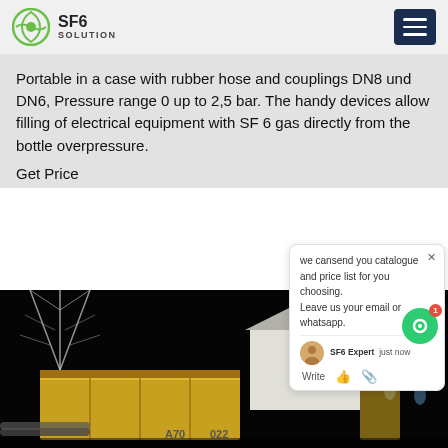SF6 SOLUTION
Portable in a case with rubber hose and couplings DN8 und DN6, Pressure range 0 up to 2,5 bar. The handy devices allow filling of electrical equipment with SF 6 gas directly from the bottle overpressure.
Get Price
we cansend you catalogue and price list for you choosing. Leave us your email or whatsapp.
SF6 Expert  just now
Write
[Figure (photo): Night-time photo of an electrical substation with high-voltage transmission towers, large yellow industrial equipment/container, and workers in the foreground]